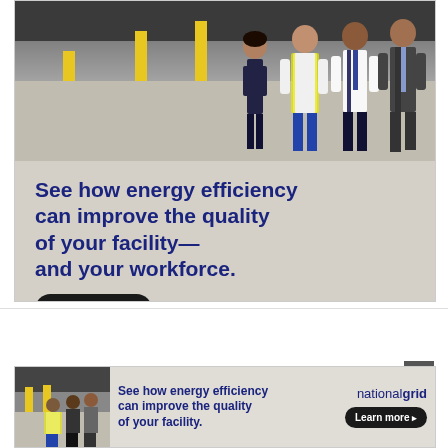[Figure (photo): National Grid advertisement. Top half shows a warehouse interior with yellow columns and a group of people (workers and business professionals) walking. Text reads: 'See how energy efficiency can improve the quality of your facility— and your workforce.' with a 'Learn more' button and the nationalgrid logo.]
[Figure (photo): Bottom banner ad for National Grid showing a smaller version of the same warehouse/people image, with text 'See how energy efficiency can improve the quality of your facility.' and nationalgrid logo with Learn more button. An X close button appears at top right.]